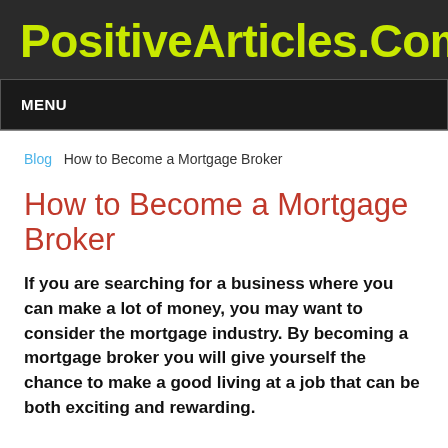PositiveArticles.Com
MENU
Blog  How to Become a Mortgage Broker
How to Become a Mortgage Broker
If you are searching for a business where you can make a lot of money, you may want to consider the mortgage industry. By becoming a mortgage broker you will give yourself the chance to make a good living at a job that can be both exciting and rewarding.